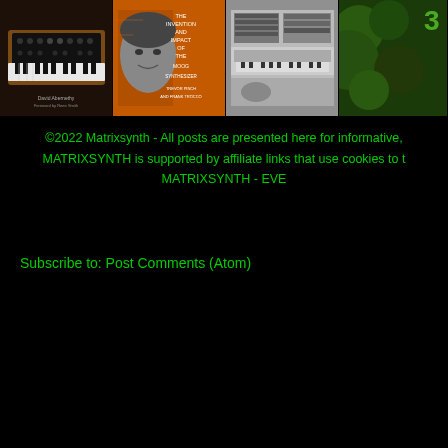[Figure (photo): Four book covers shown in a horizontal strip: (1) A wooden synthesizer keyboard on dark background, (2) An orange book cover with a man's black-and-white face and text about the invention and impact of the Moog synthesizer by Trevor Pinch and Frank Trocco, (3) A black-and-white photo of studio equipment/synthesizers, (4) A partially visible fourth book cover with green coloring.]
©2022 Matrixsynth - All posts are presented here for informative, MATRIXSYNTH is supported by affiliate links that use cookies to t MATRIXSYNTH - EVE
Subscribe to: Post Comments (Atom)